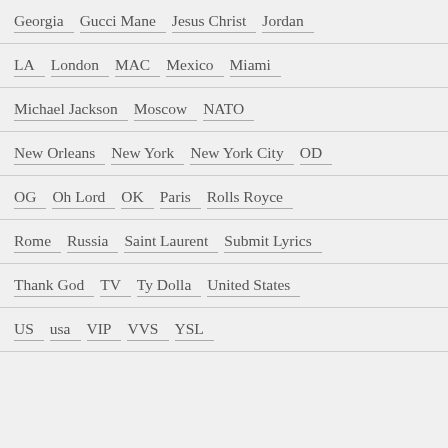Georgia   Gucci Mane   Jesus Christ   Jordan
LA   London   MAC   Mexico   Miami
Michael Jackson   Moscow   NATO
New Orleans   New York   New York City   OD
OG   Oh Lord   OK   Paris   Rolls Royce
Rome   Russia   Saint Laurent   Submit Lyrics
Thank God   TV   Ty Dolla   United States
US   usa   VIP   VVS   YSL